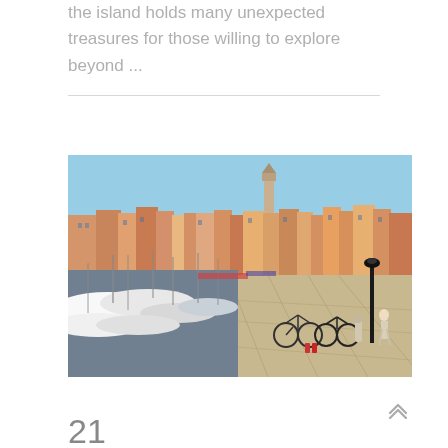the island holds many unexpected treasures for those willing to explore beyond ...
[Figure (photo): A sunny harbour scene with moored boats, bicycles parked along a waterfront promenade, and a historic town with a church tower in the background.]
21